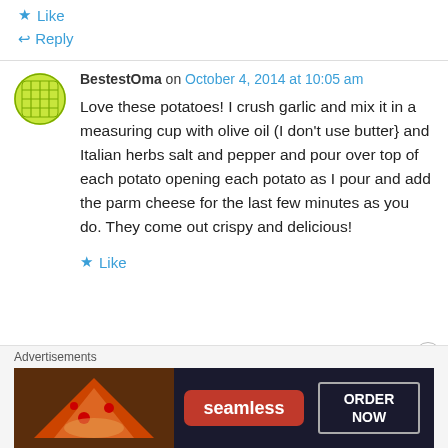★ Like
↩ Reply
BestestOma on October 4, 2014 at 10:05 am
Love these potatoes! I crush garlic and mix it in a measuring cup with olive oil (I don't use butter} and Italian herbs salt and pepper and pour over top of each potato opening each potato as I pour and add the parm cheese for the last few minutes as you do. They come out crispy and delicious!
★ Like
Advertisements